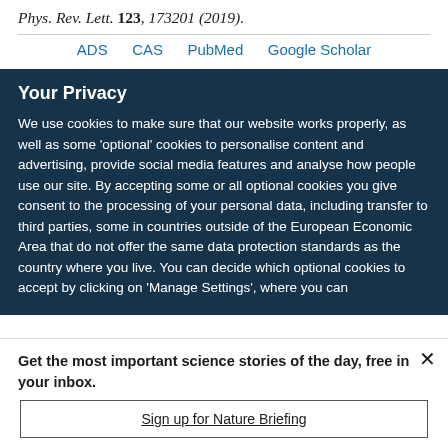Phys. Rev. Lett. 123, 173201 (2019).
ADS   CAS   PubMed   Google Scholar
Your Privacy
We use cookies to make sure that our website works properly, as well as some 'optional' cookies to personalise content and advertising, provide social media features and analyse how people use our site. By accepting some or all optional cookies you give consent to the processing of your personal data, including transfer to third parties, some in countries outside of the European Economic Area that do not offer the same data protection standards as the country where you live. You can decide which optional cookies to accept by clicking on 'Manage Settings', where you can
Get the most important science stories of the day, free in your inbox.
Sign up for Nature Briefing